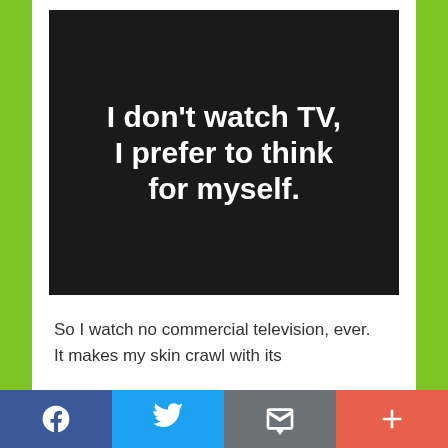[Figure (infographic): Black square image with bold white text reading: I don't watch TV, I prefer to think for myself.]
So I watch no commercial television, ever. It makes my skin crawl with its